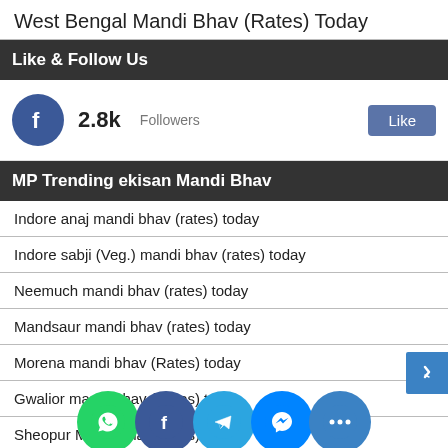West Bengal Mandi Bhav (Rates) Today
Like & Follow Us
[Figure (infographic): Facebook like widget showing 2.8k Followers with a Like button]
MP Trending ekisan Mandi Bhav
Indore anaj mandi bhav (rates) today
Indore sabji (Veg.) mandi bhav (rates) today
Neemuch mandi bhav (rates) today
Mandsaur mandi bhav (rates) today
Morena mandi bhav (Rates) today
Gwalior mandi bhav (Rates) today
Sheopur Mandi bhav (rates) today
[Figure (infographic): Social media sharing bar with WhatsApp, Facebook, Telegram, Messenger, and More icons at the bottom of the page]